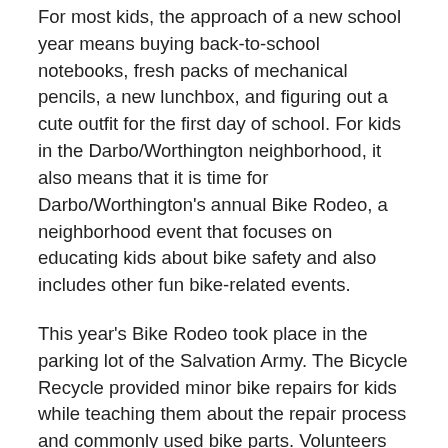For most kids, the approach of a new school year means buying back-to-school notebooks, fresh packs of mechanical pencils, a new lunchbox, and figuring out a cute outfit for the first day of school. For kids in the Darbo/Worthington neighborhood, it also means that it is time for Darbo/Worthington's annual Bike Rodeo, a neighborhood event that focuses on educating kids about bike safety and also includes other fun bike-related events.
This year's Bike Rodeo took place in the parking lot of the Salvation Army. The Bicycle Recycle provided minor bike repairs for kids while teaching them about the repair process and commonly used bike parts. Volunteers from the Madison Traffic Garden helped kids adjust their bike helmets to fit properly, set up racecourses and organized groups to participate in the races. Participants were awarded prizes for demonstrating positive bike safety habits, along with first, second, and third place winners. Volunteers from